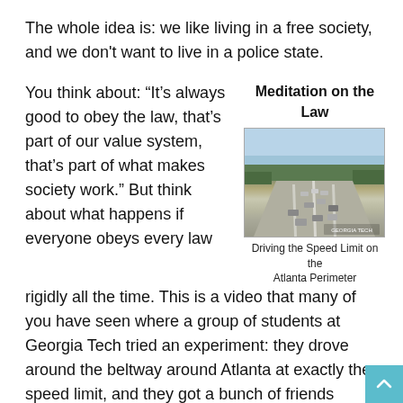The whole idea is: we like living in a free society, and we don't want to live in a police state.
You think about: “It’s always good to obey the law, that’s part of our value system, that’s part of what makes society work.” But think about what happens if everyone obeys every law rigidly all the time. This is a video that many of you have seen where a group of students at Georgia Tech tried an experiment: they drove around the beltway around Atlanta at exactly the speed limit, and they got a bunch of friends together and drove right across the entire highway at exactly the speed limit (see right-hand image). And you can see they’ve got awful traffic jam that’s building up behind them.
Meditation on the Law
[Figure (photo): Highway with multiple lanes of traffic, aerial perspective, Atlanta Perimeter highway]
Driving the Speed Limit on the Atlanta Perimeter